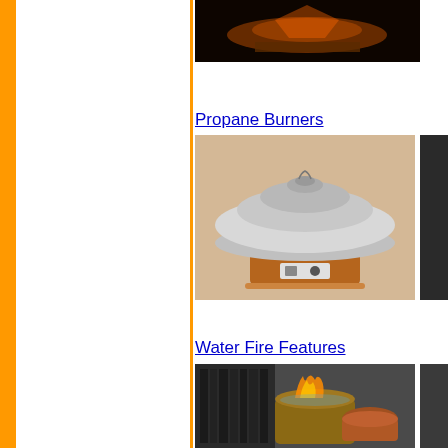[Figure (photo): Dark background photo at top, appears to show fire/copper item]
Propane Burners
[Figure (photo): Copper propane burner with domed lid, shown on beige background]
Water Fire Features
[Figure (photo): Water fire feature setup with flames and equipment visible]